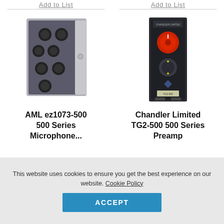Add to List
Add to List
[Figure (photo): AML ez1073-500 500 Series microphone preamp module in dark gray/silver finish with multiple black knobs]
[Figure (photo): Chandler Limited TG2-500 500 Series preamp module with red knob and dark chassis]
AML ez1073-500 500 Series Microphone...
Chandler Limited TG2-500 500 Series Preamp
This website uses cookies to ensure you get the best experience on our website. Cookie Policy
ACCEPT